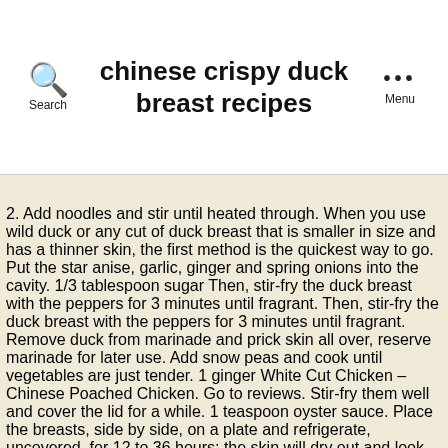chinese crispy duck breast recipes
2. Add noodles and stir until heated through. When you use wild duck or any cut of duck breast that is smaller in size and has a thinner skin, the first method is the quickest way to go. Put the star anise, garlic, ginger and spring onions into the cavity. 1/3 tablespoon sugar Then, stir-fry the duck breast with the peppers for 3 minutes until fragrant. Then, stir-fry the duck breast with the peppers for 3 minutes until fragrant. Remove duck from marinade and prick skin all over, reserve marinade for later use. Add snow peas and cook until vegetables are just tender. 1 ginger White Cut Chicken – Chinese Poached Chicken. Go to reviews. Stir-fry them well and cover the lid for a while. 1 teaspoon oyster sauce. Place the breasts, side by side, on a plate and refrigerate, uncovered, for 12 to 36 hours; the skin will dry out and look leathery. Whisk together the hoisin sauce, vinegar, ginger, garlic, Sriracha, five spice, coriander, sesame oil, and orange zest. Cook